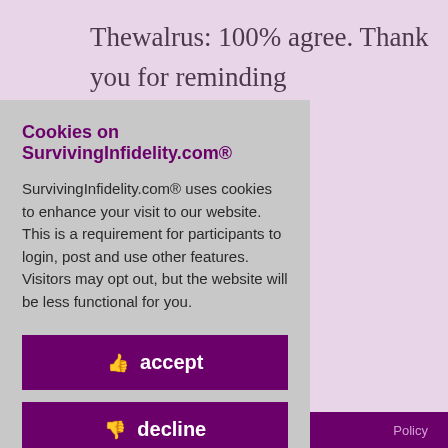Thewalrus: 100% agree. Thank you for reminding ...because he ...ady kind of ...o do with the ...tonight. But ...his trigger... I ...t it go. I don't ...is alone. I ...and does next. ...oost. Glad you ...e things. I ...ou. Sounds like ...opiness in the
Cookies on SurvivingInfidelity.com®
SurvivingInfidelity.com® uses cookies to enhance your visit to our website. This is a requirement for participants to login, post and use other features. Visitors may opt out, but the website will be less functional for you.
👍 accept
👎 decline
🍪 about cookies
Policy